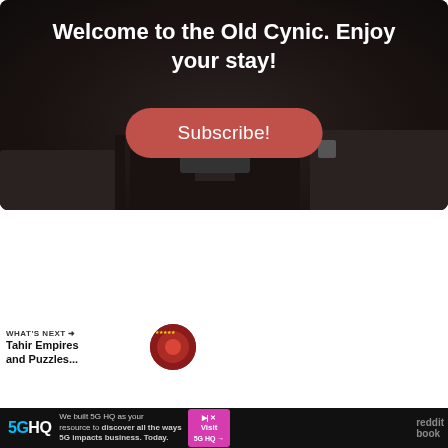[Figure (screenshot): Dark themed website banner with text 'Welcome to the Old Cynic. Enjoy your stay!' and a red Subscribe button]
Welcome to the Old Cynic. Enjoy your stay!
Subscribe!
[Figure (screenshot): Dark themed website widget showing 'Search the site' with a search bar, heart and share buttons]
Search the site
Search
WHAT'S NEXT → Tahir Empires and Puzzles...
5G HQ — We built 5G HQ as your resource to discover all the ways 5G impacts business. Today. Visit 5G HQ →